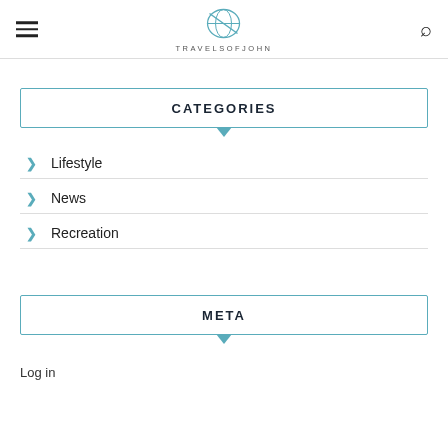TRAVELSOFJOHN
CATEGORIES
Lifestyle
News
Recreation
META
Log in